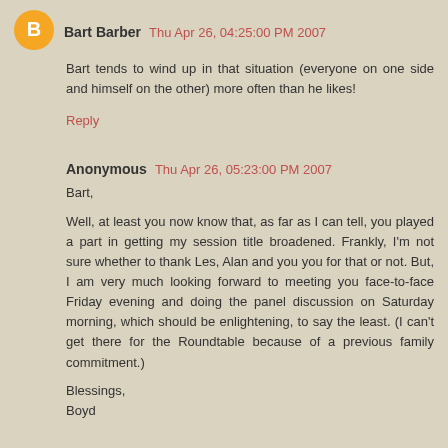Bart Barber  Thu Apr 26, 04:25:00 PM 2007
Bart tends to wind up in that situation (everyone on one side and himself on the other) more often than he likes!
Reply
Anonymous  Thu Apr 26, 05:23:00 PM 2007
Bart,

Well, at least you now know that, as far as I can tell, you played a part in getting my session title broadened. Frankly, I'm not sure whether to thank Les, Alan and you you for that or not. But, I am very much looking forward to meeting you face-to-face Friday evening and doing the panel discussion on Saturday morning, which should be enlightening, to say the least. (I can't get there for the Roundtable because of a previous family commitment.)

Blessings,
Boyd